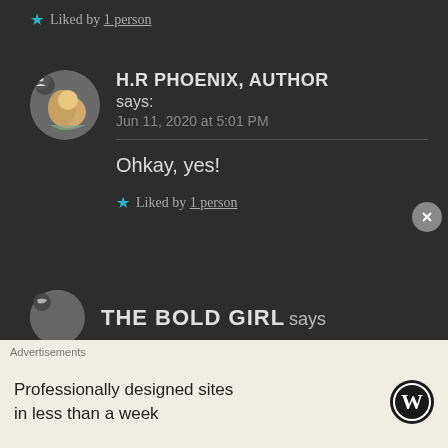★ Liked by 1 person
H.R PHOENIX, AUTHOR says:
Jun 11, 2020 at 5:01 PM
Ohkay, yes!
★ Liked by 1 person
THE BOLD GIRL says
Advertisements
Professionally designed sites in less than a week